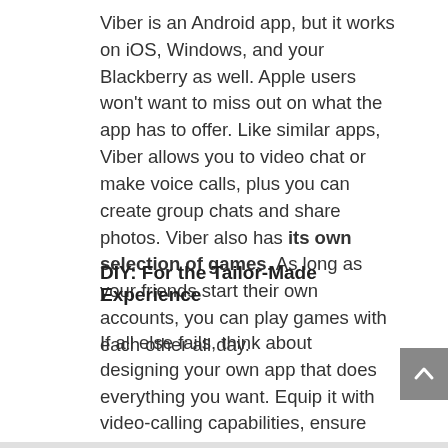Viber is an Android app, but it works on iOS, Windows, and your Blackberry as well. Apple users won't want to miss out on what the app has to offer. Like similar apps, Viber allows you to video chat or make voice calls, plus you can create group chats and share photos. Viber also has its own selection of games. As long as your friends start their own accounts, you can play games with each other all day.
DIY: For the Tailor-Made Experience
If all else fails, think about designing your own app that does everything you want. Equip it with video-calling capabilities, ensure that it's capable of making traditional voice calls, and include the ability to send texts, too. You can use the Agora Quick Start Guide during the development process. With the guide, you can find out how to